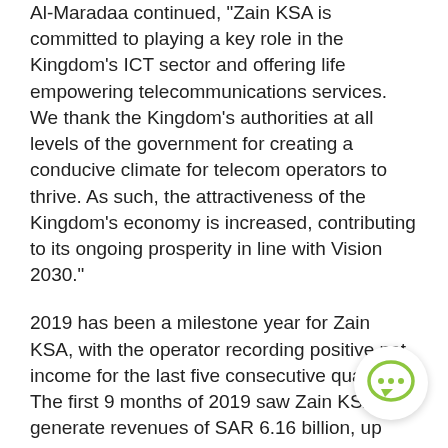Al-Maradaa continued, "Zain KSA is committed to playing a key role in the Kingdom's ICT sector and offering life empowering telecommunications services. We thank the Kingdom's authorities at all levels of the government for creating a conducive climate for telecom operators to thrive. As such, the attractiveness of the Kingdom's economy is increased, contributing to its ongoing prosperity in line with Vision 2030."
2019 has been a milestone year for Zain KSA, with the operator recording positive net income for the last five consecutive quarters. The first 9 months of 2019 saw Zain KSA generate revenues of SAR 6.16 billion, up 12% year-on-year, with net income soaring to SAR 380 million, reflecting a significant improvement on the net loss of SAR 67 million a year earlier, highlighting an improvement of circa SAR 447 million.
[Figure (other): Chat bubble icon overlay in bottom-right corner with three dots (ellipsis) in green/lime color]